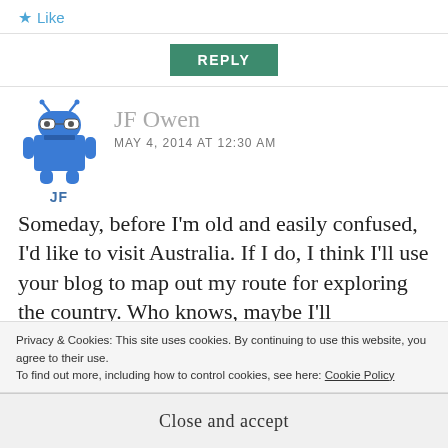★ Like
REPLY
[Figure (illustration): Android robot avatar icon with glasses and blue body, labeled 'JF' below]
JF Owen
MAY 4, 2014 AT 12:30 AM
Someday, before I'm old and easily confused, I'd like to visit Australia. If I do, I think I'll use your blog to map out my route for exploring the country. Who knows, maybe I'll e
Privacy & Cookies: This site uses cookies. By continuing to use this website, you agree to their use.
To find out more, including how to control cookies, see here: Cookie Policy
Close and accept